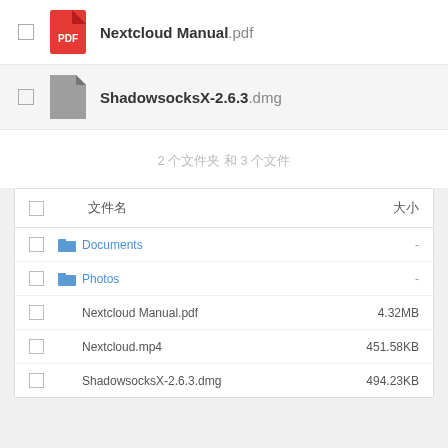[Figure (screenshot): File manager showing Nextcloud Manual.pdf file row with PDF icon and checkbox]
Nextcloud Manual.pdf
[Figure (screenshot): File manager row for ShadowsocksX-2.6.3.dmg with grey document icon and checkbox, highlighted background]
ShadowsocksX-2.6.3.dmg
2 个文件夹 和 3 个文件
| 文件名 | 大小 |
| --- | --- |
| Documents | - |
| Photos | - |
| Nextcloud Manual.pdf | 4.32MB |
| Nextcloud.mp4 | 451.58KB |
| ShadowsocksX-2.6.3.dmg | 494.23KB |